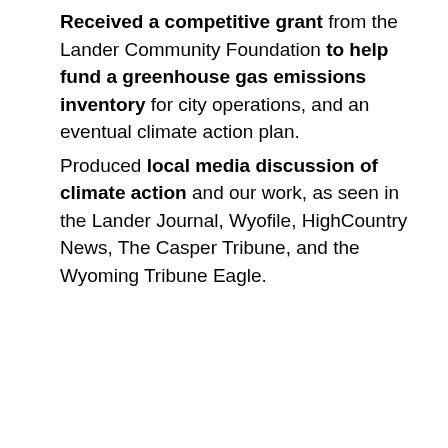Received a competitive grant from the Lander Community Foundation to help fund a greenhouse gas emissions inventory for city operations, and an eventual climate action plan.
Produced local media discussion of climate action and our work, as seen in the Lander Journal, Wyofile, HighCountry News, The Casper Tribune, and the Wyoming Tribune Eagle.